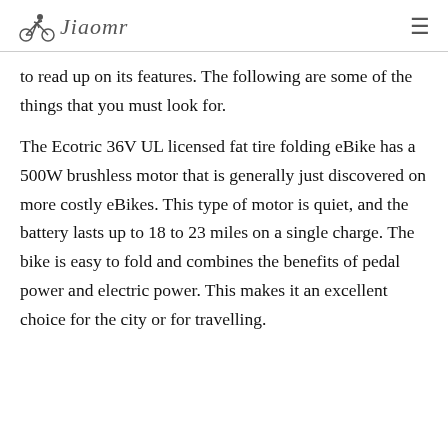Jiaomr
to read up on its features. The following are some of the things that you must look for.
The Ecotric 36V UL licensed fat tire folding eBike has a 500W brushless motor that is generally just discovered on more costly eBikes. This type of motor is quiet, and the battery lasts up to 18 to 23 miles on a single charge. The bike is easy to fold and combines the benefits of pedal power and electric power. This makes it an excellent choice for the city or for travelling.